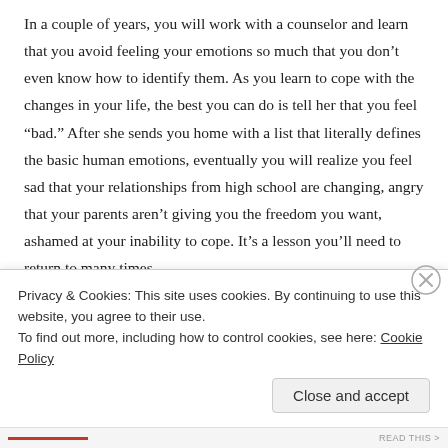In a couple of years, you will work with a counselor and learn that you avoid feeling your emotions so much that you don’t even know how to identify them. As you learn to cope with the changes in your life, the best you can do is tell her that you feel “bad.” After she sends you home with a list that literally defines the basic human emotions, eventually you will realize you feel sad that your relationships from high school are changing, angry that your parents aren’t giving you the freedom you want, ashamed at your inability to cope. It’s a lesson you’ll need to return to many times.
Privacy & Cookies: This site uses cookies. By continuing to use this website, you agree to their use.
To find out more, including how to control cookies, see here: Cookie Policy